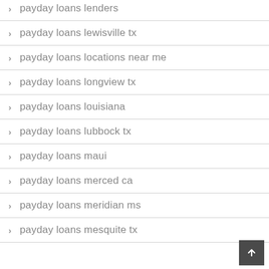payday loans lenders
payday loans lewisville tx
payday loans locations near me
payday loans longview tx
payday loans louisiana
payday loans lubbock tx
payday loans maui
payday loans merced ca
payday loans meridian ms
payday loans mesquite tx